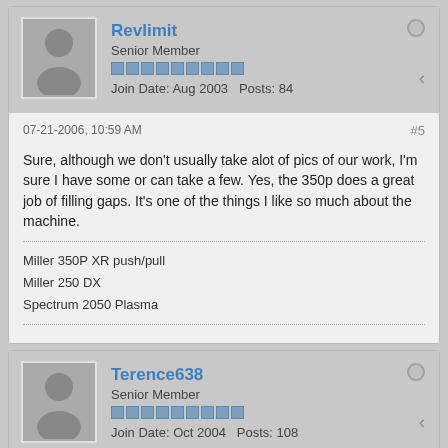Revlimit
Senior Member
Join Date: Aug 2003   Posts: 84
07-21-2006, 10:59 AM
#5
Sure, although we don't usually take alot of pics of our work, I'm sure I have some or can take a few. Yes, the 350p does a great job of filling gaps. It's one of the things I like so much about the machine.
Miller 350P XR push/pull
Miller 250 DX
Spectrum 2050 Plasma
Terence638
Senior Member
Join Date: Oct 2004   Posts: 108
07-21-2006, 11:29 AM
#6